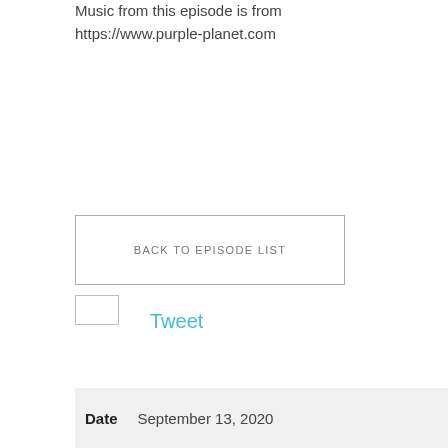Music from this episode is from https://www.purple-planet.com
Tweet
BACK TO EPISODE LIST
Date   September 13, 2020